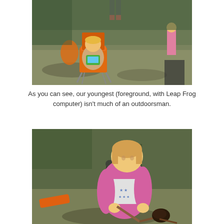[Figure (photo): Child sitting in an orange camping chair using a Leap Frog computer toy, outdoors on grass/dirt at dusk. Other people visible in background.]
As you can see, our youngest (foreground, with Leap Frog computer) isn't much of an outdoorsman.
[Figure (photo): Young girl in a pink hoodie holding a stick with something on it near a campfire outdoors at dusk.]